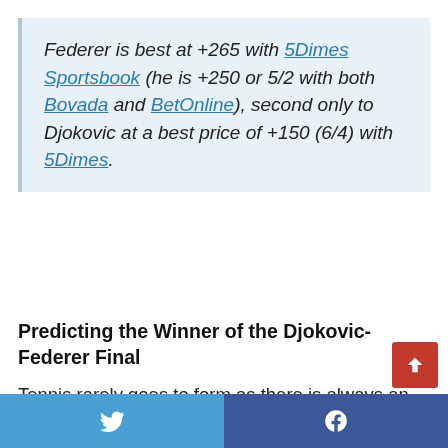Federer is best at +265 with 5Dimes Sportsbook (he is +250 or 5/2 with both Bovada and BetOnline), second only to Djokovic at a best price of +150 (6/4) with 5Dimes.
Predicting the Winner of the Djokovic-Federer Final
Tennis rarely goes to form as there is always an upset that makes their way through to the quarters or maybe even semifinals of the